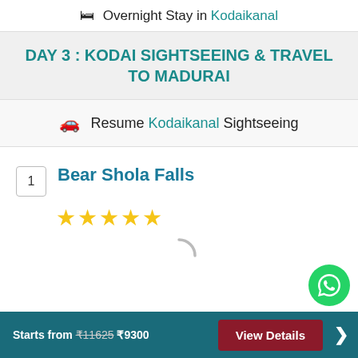🛏 Overnight Stay in Kodaikanal
DAY 3 : KODAI SIGHTSEEING & TRAVEL TO MADURAI
🚗 Resume Kodaikanal Sightseeing
1 Bear Shola Falls ★★★★★
Starts from ₹11625 ₹9300  View Details